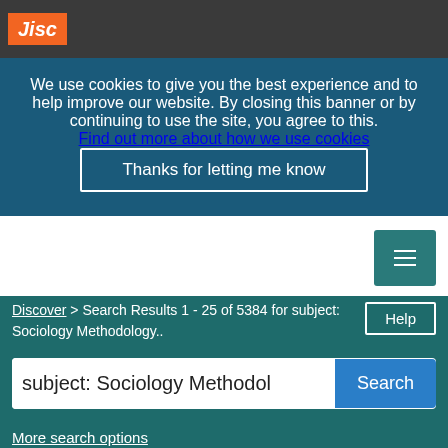[Figure (logo): Jisc logo in orange box on dark navigation bar]
We use cookies to give you the best experience and to help improve our website. By closing this banner or by continuing to use the site, you agree to this.
Find out more about how we use cookies
Thanks for letting me know
Library Hub Discover
Discover > Search Results 1 - 25 of 5384 for subject: Sociology Methodology..
Help
subject: Sociology Methodol
Search
More search options